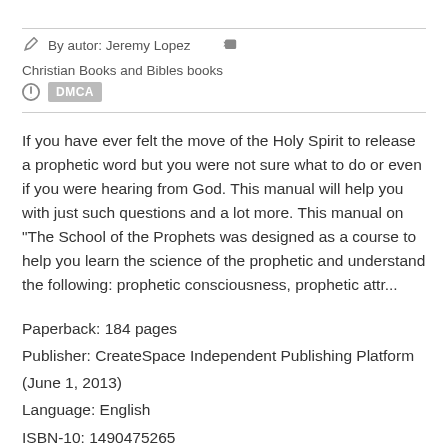By autor: Jeremy Lopez   Christian Books and Bibles books
DMCA
If you have ever felt the move of the Holy Spirit to release a prophetic word but you were not sure what to do or even if you were hearing from God. This manual will help you with just such questions and a lot more. This manual on "The School of the Prophets was designed as a course to help you learn the science of the prophetic and understand the following: prophetic consciousness, prophetic attr...
Paperback: 184 pages
Publisher: CreateSpace Independent Publishing Platform (June 1, 2013)
Language: English
ISBN-10: 1490475265
ISBN-13: 978-1490475264
Product Dimensions: 8.5 x 0.4 x 11 inches
Amazon Rank: 696904
Format: PDF ePub fb2 TXT fb2 book